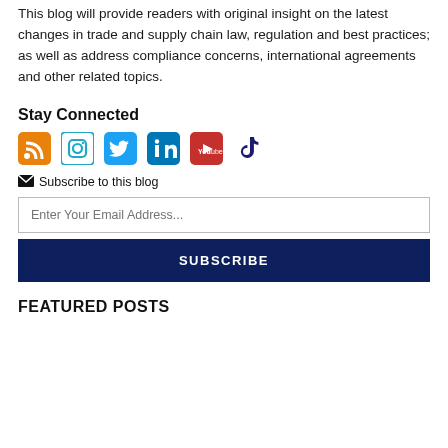This blog will provide readers with original insight on the latest changes in trade and supply chain law, regulation and best practices; as well as address compliance concerns, international agreements and other related topics.
Stay Connected
[Figure (other): Social media icons: RSS feed (orange), Instagram (outline), Twitter (blue), LinkedIn (blue), YouTube (red), TikTok (dark blue)]
Subscribe to this blog
Enter Your Email Address...
SUBSCRIBE
FEATURED POSTS